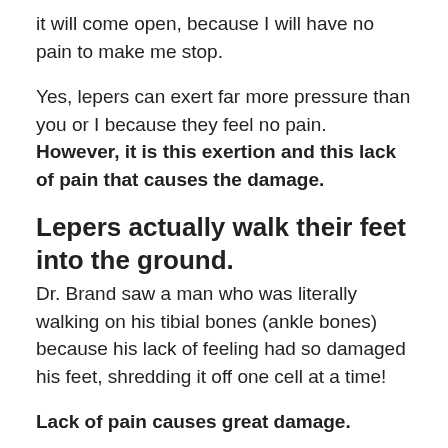it will come open, because I will have no pain to make me stop.
Yes, lepers can exert far more pressure than you or I because they feel no pain. However, it is this exertion and this lack of pain that causes the damage.
Lepers actually walk their feet into the ground.
Dr. Brand saw a man who was literally walking on his tibial bones (ankle bones) because his lack of feeling had so damaged his feet, shredding it off one cell at a time!
Lack of pain causes great damage.